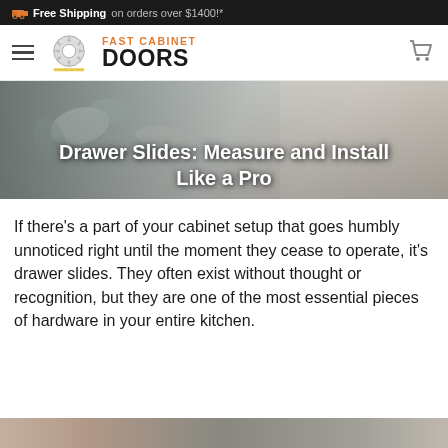Free Shipping on orders over $1400!*
[Figure (logo): Fast Cabinet Doors logo with saw blade icon]
Drawer Slides: Measure and Install Like a Pro
If there’s a part of your cabinet setup that goes humbly unnoticed right until the moment they cease to operate, it’s drawer slides. They often exist without thought or recognition, but they are one of the most essential pieces of hardware in your entire kitchen.
[Figure (photo): Partial view of a drawer slide installation photo at the bottom of the page]